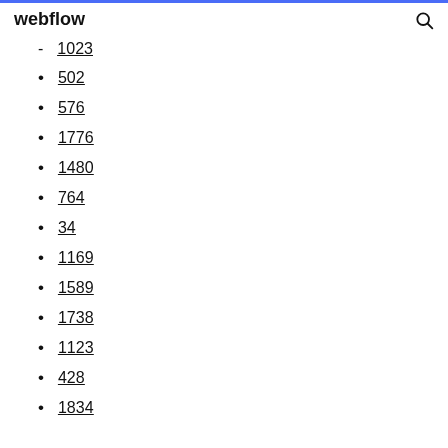webflow [search icon]
1023
502
576
1776
1480
764
34
1169
1589
1738
1123
428
1834